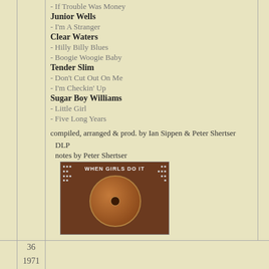- If Trouble Was Money
Junior Wells
- I'm A Stranger
Clear Waters
- Hilly Billy Blues
- Boogie Woogie Baby
Tender Slim
- Don't Cut Out On Me
- I'm Checkin' Up
Sugar Boy Williams
- Little Girl
- Five Long Years
compiled, arranged & prod. by Ian Sippen & Peter Shertser
DLP
notes by Peter Shertser
[Figure (photo): Album cover for 'When Girls Do It' - brown/sepia toned with circular record imagery and text]
36   1971
[Figure (infographic): Social media icons row: home, Facebook, Twitter, YouTube, Pinterest, eBay]
T.V. Slim discography (latest date of editing: 03/28/2021)
© responsible for contents: Stefan Wirz
00591753
counting 'American Music' since 12/08/2019